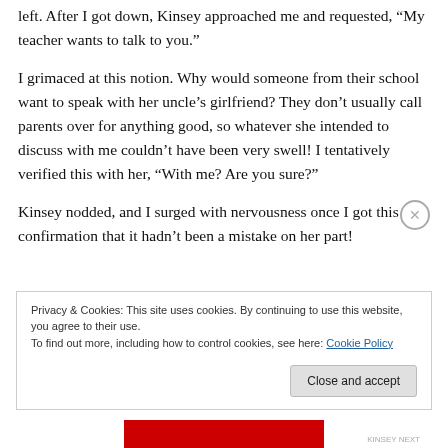left. After I got down, Kinsey approached me and requested, “My teacher wants to talk to you.”
I grimaced at this notion. Why would someone from their school want to speak with her uncle’s girlfriend? They don’t usually call parents over for anything good, so whatever she intended to discuss with me couldn’t have been very swell! I tentatively verified this with her, “With me? Are you sure?”
Kinsey nodded, and I surged with nervousness once I got this confirmation that it hadn’t been a mistake on her part!
Privacy & Cookies: This site uses cookies. By continuing to use this website, you agree to their use.
To find out more, including how to control cookies, see here: Cookie Policy
Close and accept